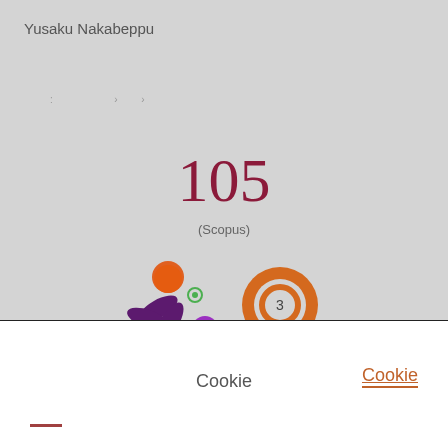Yusaku Nakabeppu
: > >
105
(Scopus)
[Figure (logo): Altmetric logo - purple splat with orange and purple circles]
[Figure (donut-chart): Orange donut chart with number 3 in center]
Cookie
Cookie